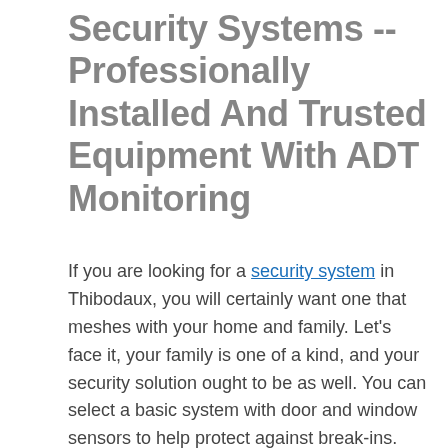Security Systems -- Professionally Installed And Trusted Equipment With ADT Monitoring
If you are looking for a security system in Thibodaux, you will certainly want one that meshes with your home and family. Let's face it, your family is one of a kind, and your security solution ought to be as well. You can select a basic system with door and window sensors to help protect against break-ins. Alternatively, you can opt for a much more sophisticated system that includes security cameras, home automation, and fire and CO detectors. Regardless of the system you feel is the